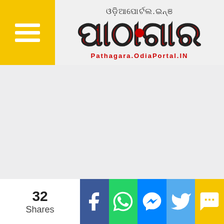[Figure (logo): Pathagara OdiaPortal.IN website logo with Odia script text and red circle graphic, with yellow hamburger menu button on left]
[Figure (other): Large empty grey content area below header]
32 Shares
[Figure (infographic): Social share bar with Facebook, WhatsApp, Messenger, Twitter, and SMS buttons]